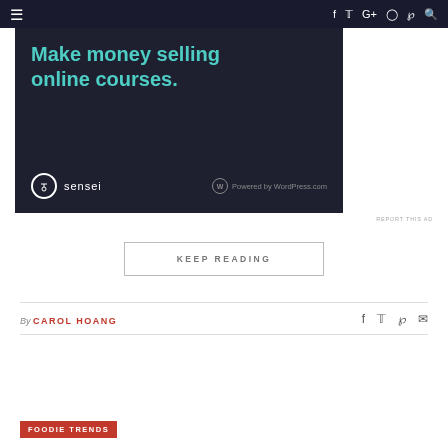≡  f  t  G+  ○  P  🔍
[Figure (screenshot): Dark-themed advertisement banner for Sensei/WordPress.com: 'Make money selling online courses.' with Sensei logo and 'Powered by WordPress.com' text.]
REPORT THIS AD
KEEP READING
By CAROL HOANG
FOODIE TRENDS